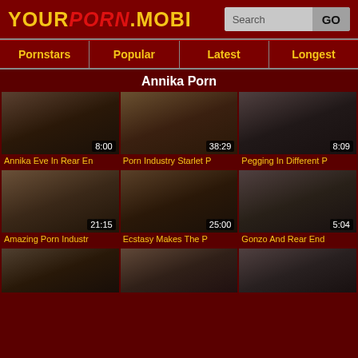[Figure (screenshot): Website header with logo YOURPORN.MOBI and search box with GO button]
Pornstars | Popular | Latest | Longest
Annika Porn
[Figure (screenshot): Video thumbnail 1 - duration 8:00]
[Figure (screenshot): Video thumbnail 2 - duration 38:29]
[Figure (screenshot): Video thumbnail 3 - duration 8:09]
Annika Eve In Rear En
Porn Industry Starlet P
Pegging In Different P
[Figure (screenshot): Video thumbnail 4 - duration 21:15]
[Figure (screenshot): Video thumbnail 5 - duration 25:00]
[Figure (screenshot): Video thumbnail 6 - duration 5:04]
Amazing Porn Industr
Ecstasy Makes The P
Gonzo And Rear End